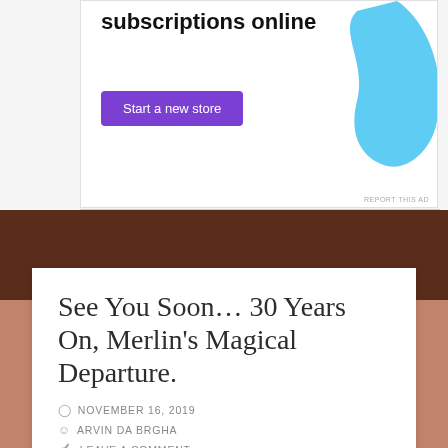[Figure (other): Advertisement banner with text 'subscriptions online', a purple 'Start a new store' button, and a cyan blob shape on the right. 'REPORT THIS AD' text at bottom right.]
See You Soon… 30 Years On, Merlin's Magical Departure.
NOVEMBER 16, 2019
ARVIN DA BRGHA
LEAVE A COMMENT